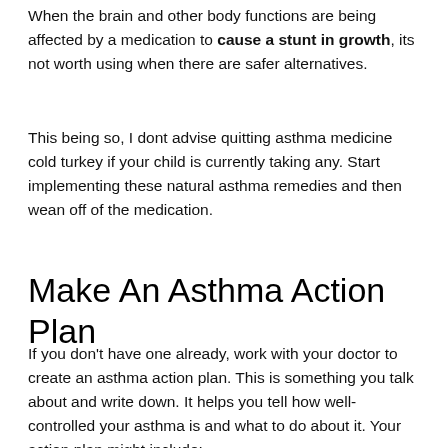When the brain and other body functions are being affected by a medication to cause a stunt in growth, its not worth using when there are safer alternatives.
This being so, I dont advise quitting asthma medicine cold turkey if your child is currently taking any. Start implementing these natural asthma remedies and then wean off of the medication.
Make An Asthma Action Plan
If you don't have one already, work with your doctor to create an asthma action plan. This is something you talk about and write down. It helps you tell how well-controlled your asthma is and what to do about it. Your action plan might include: